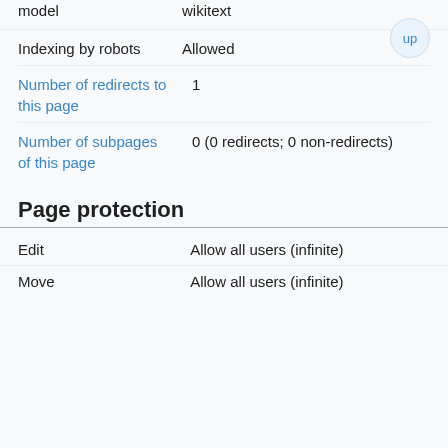model	wikitext
Indexing by robots	Allowed
Number of redirects to this page	1
Number of subpages of this page	0 (0 redirects; 0 non-redirects)
Page protection
| Edit | Allow all users (infinite) |
| Move | Allow all users (infinite) |